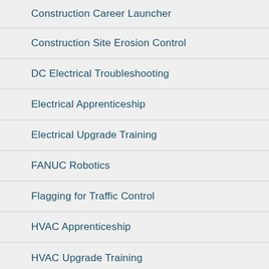Construction Career Launcher
Construction Site Erosion Control
DC Electrical Troubleshooting
Electrical Apprenticeship
Electrical Upgrade Training
FANUC Robotics
Flagging for Traffic Control
HVAC Apprenticeship
HVAC Upgrade Training